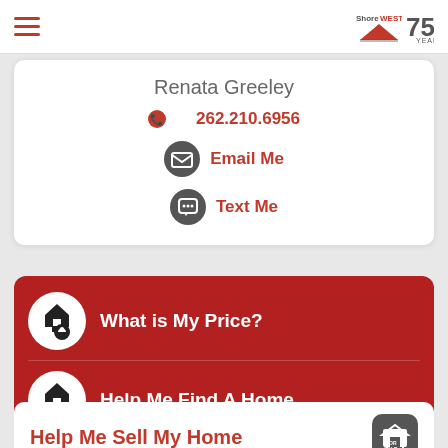ShoreWest 75 Years
Renata Greeley
262.210.6956
Email Me
Text Me
What is My Price?
Help Me Find A Home
Help Me Sell My Home